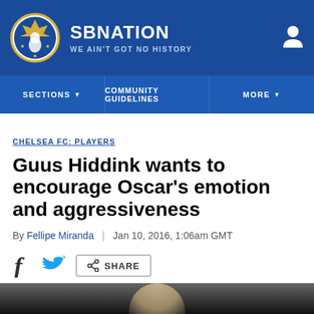SB NATION | WE AIN'T GOT NO HISTORY
SECTIONS | COMMUNITY GUIDELINES | MORE
CHELSEA FC: PLAYERS
Guus Hiddink wants to encourage Oscar's emotion and aggressiveness
By Fellipe Miranda | Jan 10, 2016, 1:06am GMT
SHARE